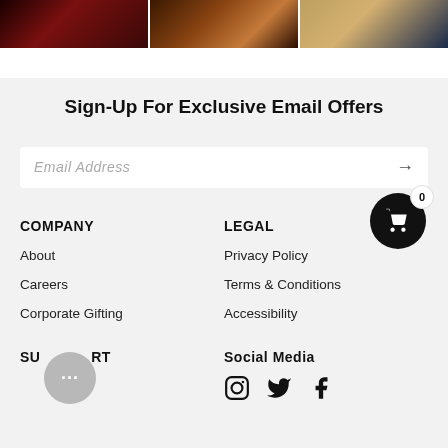[Figure (photo): Three product/lifestyle photos in a horizontal strip at the top: left shows red wine/dark beverage, center shows cocktail or drink with garnish on patterned surface, right shows a person holding a drink]
Sign-Up For Exclusive Email Offers
[Figure (other): Email address input field with placeholder text 'Email Address' and a right arrow button]
COMPANY
LEGAL
About
Privacy Policy
Careers
Terms & Conditions
Corporate Gifting
Accessibility
SUPPORT
Social Media
[Figure (other): Social media icons: Instagram, Twitter/X, Facebook]